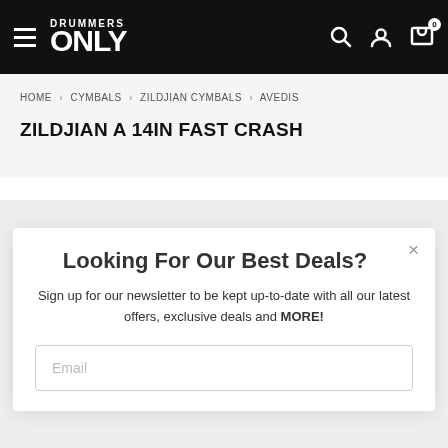DRUMMERS ONLY — navigation header with hamburger menu, search, account, and cart (0) icons
HOME › CYMBALS › ZILDJIAN CYMBALS › AVEDIS
ZILDJIAN A 14IN FAST CRASH
Looking For Our Best Deals?
Sign up for our newsletter to be kept up-to-date with all our latest offers, exclusive deals and MORE!
Email